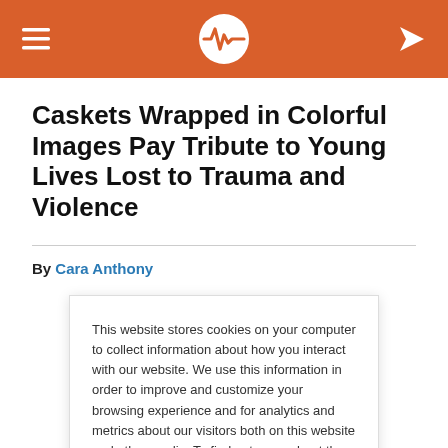KHN Health News (header navigation bar with logo)
Caskets Wrapped in Colorful Images Pay Tribute to Young Lives Lost to Trauma and Violence
By Cara Anthony
This website stores cookies on your computer to collect information about how you interact with our website. We use this information in order to improve and customize your browsing experience and for analytics and metrics about our visitors both on this website and other media. To find out more about the cookies we use, see our Privacy Policy.